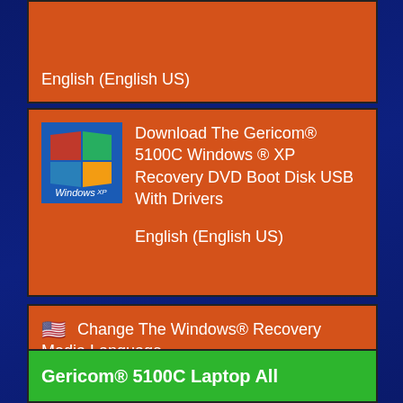English (English US)
[Figure (screenshot): Windows XP logo - colorful Windows flag icon with 'Windows XP' text below]
Download The Gericom® 5100C Windows ® XP Recovery DVD Boot Disk USB With Drivers
English (English US)
🇺🇸 Change The Windows® Recovery Media Language
Gericom® 5100C Laptop All